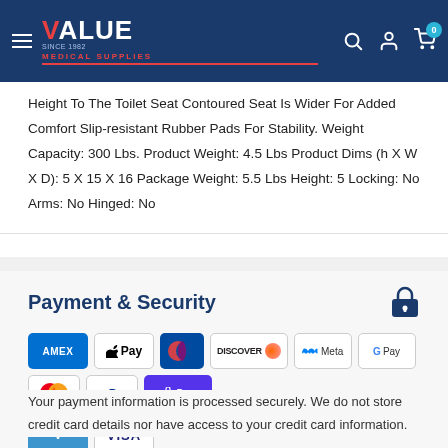Value Medical Supplies
Height To The Toilet Seat Contoured Seat Is Wider For Added Comfort Slip-resistant Rubber Pads For Stability. Weight Capacity: 300 Lbs. Product Weight: 4.5 Lbs Product Dims (h X W X D): 5 X 15 X 16 Package Weight: 5.5 Lbs Height: 5 Locking: No Arms: No Hinged: No
Payment & Security
[Figure (logo): Payment method icons: AMEX, Apple Pay, Diners Club, Discover, Meta Pay, Google Pay, Mastercard, PayPal, Shop Pay, Venmo, Visa]
Your payment information is processed securely. We do not store credit card details nor have access to your credit card information.